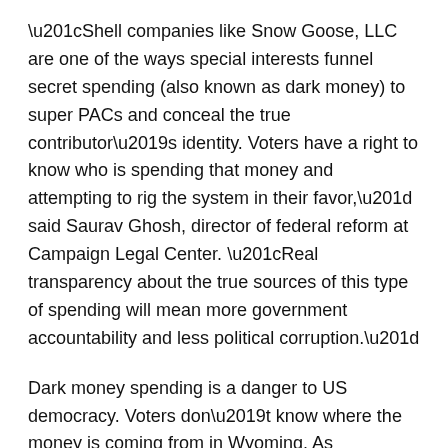“Shell companies like Snow Goose, LLC are one of the ways special interests funnel secret spending (also known as dark money) to super PACs and conceal the true contributor’s identity. Voters have a right to know who is spending that money and attempting to rig the system in their favor,” said Saurav Ghosh, director of federal reform at Campaign Legal Center. “Real transparency about the true sources of this type of spending will mean more government accountability and less political corruption.”
Dark money spending is a danger to US democracy. Voters don’t know where the money is coming from in Wyoming. As mentioned above, Republicans want to be rid of Cheney, who is doing patriotic work on the 1/6 Committee, so badly that they are willing to break the law to rig a primary against her.
Democrats may disagree with Liz Cheney on 99% of policy,